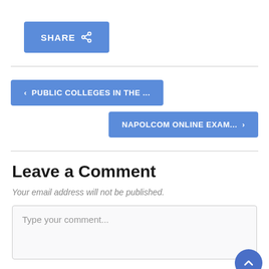[Figure (other): Blue SHARE button with share icon]
[Figure (other): Navigation button: left arrow with text PUBLIC COLLEGES IN THE ...]
[Figure (other): Navigation button: right arrow with text NAPOLCOM ONLINE EXAM...]
Leave a Comment
Your email address will not be published.
Type your comment...